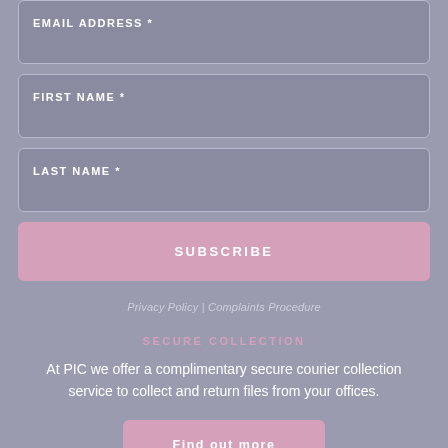EMAIL ADDRESS *
FIRST NAME *
LAST NAME *
SUBSCRIBE
Privacy Policy | Complaints Procedure
SECURE COLLECTION
At PIC we offer a complimentary secure courier collection service to collect and return files from your offices.
Find out more